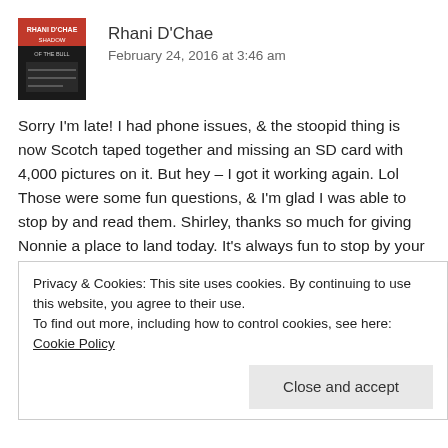[Figure (illustration): Book cover thumbnail for 'Shadow of the Bull' by Rhani D'Chae, showing red and white text on a dark background]
Rhani D'Chae
February 24, 2016 at 3:46 am
Sorry I'm late! I had phone issues, & the stoopid thing is now Scotch taped together and missing an SD card with 4,000 pictures on it. But hey – I got it working again. Lol Those were some fun questions, & I'm glad I was able to stop by and read them. Shirley, thanks so much for giving Nonnie a place to land today. It's always fun to stop by your blog. *Hugs*
Privacy & Cookies: This site uses cookies. By continuing to use this website, you agree to their use.
To find out more, including how to control cookies, see here: Cookie Policy
Close and accept